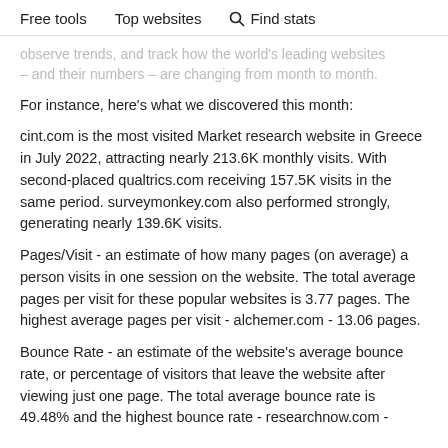Free tools   Top websites   🔍 Find stats
observe trends, and track how the world's leading websites – and their numbers – are changing from month to month.
For instance, here's what we discovered this month:
cint.com is the most visited Market research website in Greece in July 2022, attracting nearly 213.6K monthly visits. With second-placed qualtrics.com receiving 157.5K visits in the same period. surveymonkey.com also performed strongly, generating nearly 139.6K visits.
Pages/Visit - an estimate of how many pages (on average) a person visits in one session on the website. The total average pages per visit for these popular websites is 3.77 pages. The highest average pages per visit - alchemer.com - 13.06 pages.
Bounce Rate - an estimate of the website's average bounce rate, or percentage of visitors that leave the website after viewing just one page. The total average bounce rate is 49.48% and the highest bounce rate - researchnow.com -